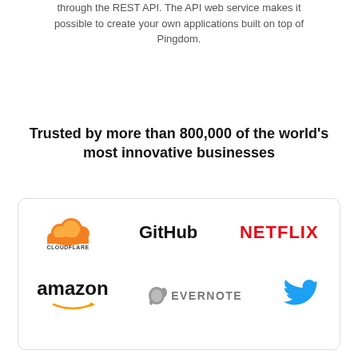through the REST API. The API web service makes it possible to create your own applications built on top of Pingdom.
Trusted by more than 800,000 of the world's most innovative businesses
[Figure (logo): Company logos in a rounded-corner box: Cloudflare (orange cloud icon + text), GitHub (bold black text), NETFLIX (bold red text), amazon (bold black text with orange arrow), EVERNOTE (grey elephant icon + grey text), Twitter (blue bird icon)]